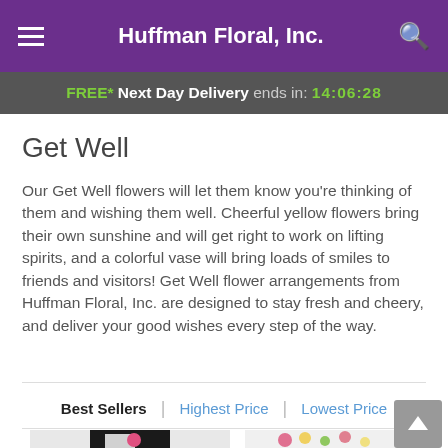Huffman Floral, Inc.
FREE* Next Day Delivery ends in: 14:06:28
Get Well
Our Get Well flowers will let them know you're thinking of them and wishing them well. Cheerful yellow flowers bring their own sunshine and will get right to work on lifting spirits, and a colorful vase will bring loads of smiles to friends and visitors! Get Well flower arrangements from Huffman Floral, Inc. are designed to stay fresh and cheery, and deliver your good wishes every step of the way.
Best Sellers | Highest Price | Lowest Price
[Figure (photo): Partial view of two product thumbnail images at the bottom of the page — left shows a person in black suit holding a pink flower, right shows a pink and yellow floral arrangement]
[Figure (other): Scroll-to-top button (grey square with upward arrow)]